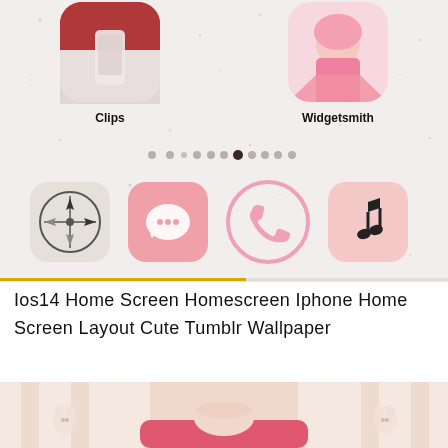[Figure (screenshot): iOS 14 home screen screenshot showing app icons: Clips (top left with photo app icon), Widgetsmith (top right with anime character), page dots navigation row, and dock with 4 icons: compass/navigation app, pink messages app, pink phone circle icon, pink music note app. Speckled pink/white wallpaper background.]
Ios14 Home Screen Homescreen Iphone Home Screen Layout Cute Tumblr Wallpaper
[Figure (illustration): Bottom portion of an anime-style illustration showing a character with light pink/peach tones, wearing a pink/red top, with small bunny motifs visible on the sides.]